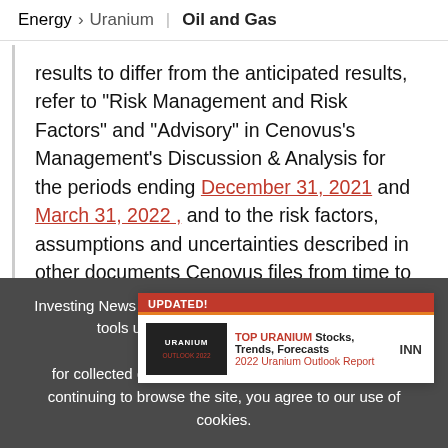Energy > Uranium | Oil and Gas
results to differ from the anticipated results, refer to "Risk Management and Risk Factors" and "Advisory" in Cenovus's Management's Discussion & Analysis for the periods ending December 31, 2021 and March 31, 2022 , and to the risk factors, assumptions and uncertainties described in other documents Cenovus files from time to time with secu
(ava
[Figure (other): Ad popup: UPDATED! banner in red/orange, Uranium Outlook 2022 logo in black box, TOP URANIUM Stocks, Trends, Forecasts 2022 Uranium Outlook Report, INN branding, close X button]
Investing News Network websites or approved third-party tools use cookies. Please refer to the cookie policy for collected data, privacy and GDPR compliance. By continuing to browse the site, you agree to our use of cookies.